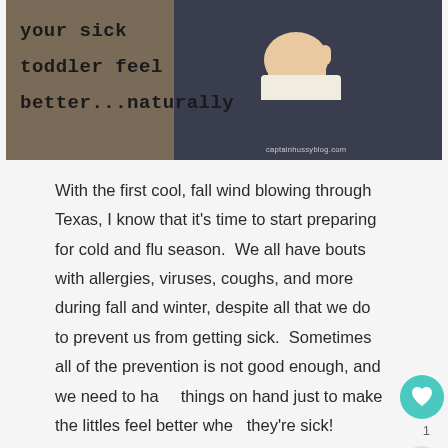[Figure (photo): Blog post hero image showing text overlay 'your sick toddler feel better...naturally' on a brownish background with a toddler's hand visible against dark fabric, watermark captainhussyblog.com]
With the first cool, fall wind blowing through Texas, I know that it's time to start preparing for cold and flu season.  We all have bouts with allergies, viruses, coughs, and more during fall and winter, despite all that we do to prevent us from getting sick.  Sometimes all of the prevention is not good enough, and we need to have things on hand just to make the littles feel better when they're sick!